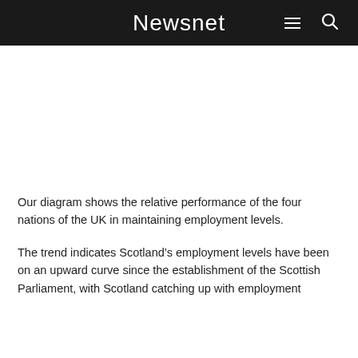Newsnet
[Figure (other): Advertisement area (blank white space)]
Our diagram shows the relative performance of the four nations of the UK in maintaining employment levels.
The trend indicates Scotland’s employment levels have been on an upward curve since the establishment of the Scottish Parliament, with Scotland catching up with employment